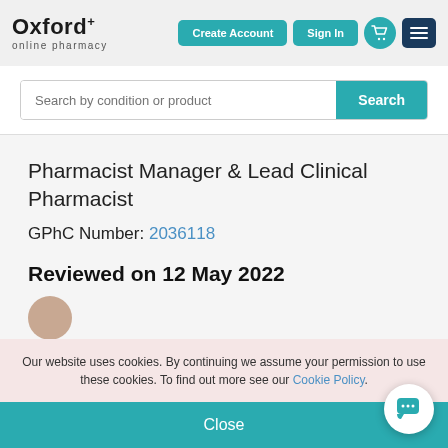[Figure (logo): Oxford+ Online Pharmacy logo with teal navigation buttons (Create Account, Sign In, basket icon, hamburger menu)]
[Figure (screenshot): Search bar with placeholder 'Search by condition or product' and teal Search button]
Pharmacist Manager & Lead Clinical Pharmacist
GPhC Number: 2036118
Reviewed on 12 May 2022
Our website uses cookies. By continuing we assume your permission to use these cookies. To find out more see our Cookie Policy.
Close